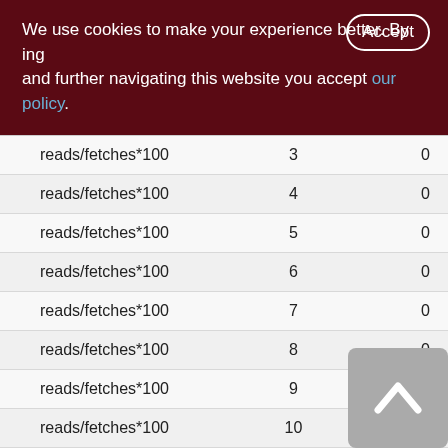We use cookies to make your experience better. By accepting and further navigating this website you accept our policy.
| reads/fetches*100 | 3 | 0 |
| reads/fetches*100 | 4 | 0 |
| reads/fetches*100 | 5 | 0 |
| reads/fetches*100 | 6 | 0 |
| reads/fetches*100 | 7 | 0 |
| reads/fetches*100 | 8 | 0 |
| reads/fetches*100 | 9 | 0 |
| reads/fetches*100 | 10 | 0 |